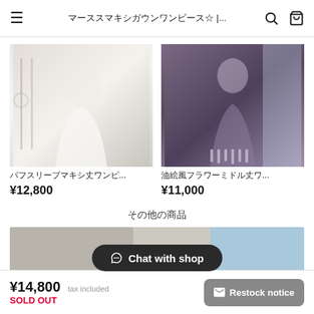マーススマキシガウンワンピース☆ |...
[Figure (photo): White puff-sleeve maxi dress product photo]
パフスリーブマキシ丈ワンピ...
¥12,800
[Figure (photo): Oil painting style floral midi dress product photo]
油絵風フラワーミドル丈ワ...
¥11,000
その他の商品
[Figure (screenshot): Bottom product preview strip with Chat with shop button overlay]
¥14,800 tax included
SOLD OUT
Restock notice